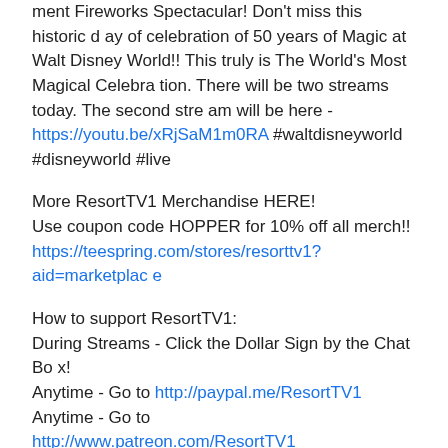ment Fireworks Spectacular! Don't miss this historic day of celebration of 50 years of Magic at Walt Disney World!! This truly is The World's Most Magical Celebration. There will be two streams today. The second stream will be here - https://youtu.be/xRjSaM1m0RA #waltdisneyworld #disneyworld #live
More ResortTV1 Merchandise HERE! Use coupon code HOPPER for 10% off all merch!! https://teespring.com/stores/resorttv1?aid=marketplace
How to support ResortTV1: During Streams - Click the Dollar Sign by the Chat Box! Anytime - Go to http://paypal.me/ResortTV1 Anytime - Go to http://www.patreon.com/ResortTV1
Check out our Sponsors: